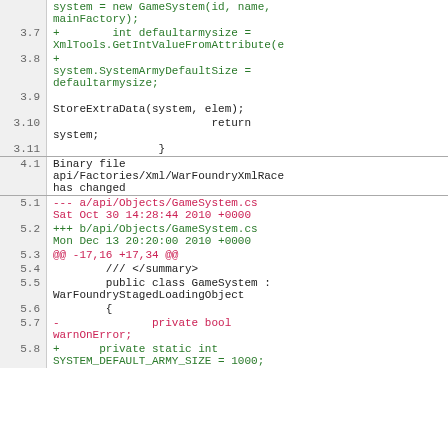Code diff view showing changes to GameSystem files
| line | code |
| --- | --- |
|  | GameSystem( |
|  | system = new GameSystem(id, name, |
|  | mainFactory); |
| 3.7 | +        int defaultarmysize = |
|  | XmlTools.GetIntValueFromAttribute(e |
| 3.8 | + |
|  | system.SystemArmyDefaultSize = |
|  | defaultarmysize; |
| 3.9 |  |
|  | StoreExtraData(system, elem); |
| 3.10 |                         return |
|  | system; |
| 3.11 |                 } |
| 4.1 | Binary file api/Factories/Xml/WarFoundryXmlRace has changed |
| 5.1 | --- a/api/Objects/GameSystem.cs  Sat Oct 30 14:28:44 2010 +0000 |
| 5.2 | +++ b/api/Objects/GameSystem.cs  Mon Dec 13 20:20:00 2010 +0000 |
| 5.3 | @@ -17,16 +17,34 @@ |
| 5.4 |         /// </summary> |
| 5.5 |         public class GameSystem : WarFoundryStagedLoadingObject |
| 5.6 |         { |
| 5.7 | -              private bool warnOnError; |
| 5.8 | +      private static int SYSTEM_DEFAULT_ARMY_SIZE = 1000; |